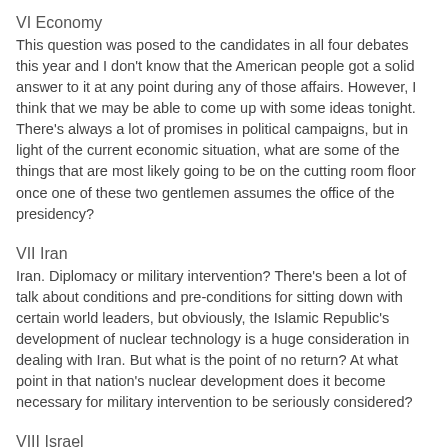VI Economy
This question was posed to the candidates in all four debates this year and I don't know that the American people got a solid answer to it at any point during any of those affairs. However, I think that we may be able to come up with some ideas tonight. There's always a lot of promises in political campaigns, but in light of the current economic situation, what are some of the things that are most likely going to be on the cutting room floor once one of these two gentlemen assumes the office of the presidency?
VII Iran
Iran. Diplomacy or military intervention? There's been a lot of talk about conditions and pre-conditions for sitting down with certain world leaders, but obviously, the Islamic Republic's development of nuclear technology is a huge consideration in dealing with Iran. But what is the point of no return? At what point in that nation's nuclear development does it become necessary for military intervention to be seriously considered?
VIII Israel